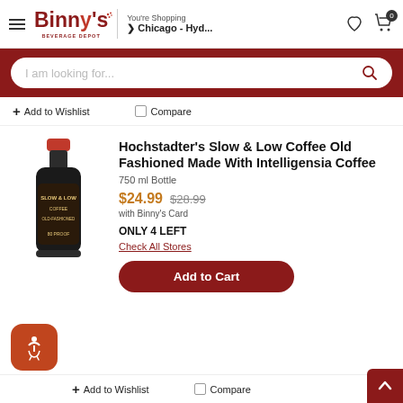Binny's Beverage Depot — You're Shopping Chicago - Hyd...
I am looking for...
+ Add to Wishlist   Compare
Hochstadter's Slow & Low Coffee Old Fashioned Made With Intelligensia Coffee
750 ml Bottle
$24.99  $28.99  with Binny's Card
ONLY 4 LEFT
Check All Stores
Add to Cart
+ Add to Wishlist   Compare